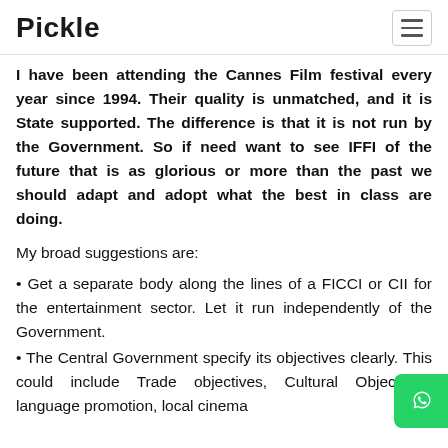Pickle
I have been attending the Cannes Film festival every year since 1994. Their quality is unmatched, and it is State supported. The difference is that it is not run by the Government. So if need want to see IFFI of the future that is as glorious or more than the past we should adapt and adopt what the best in class are doing.
My broad suggestions are:
• Get a separate body along the lines of a FICCI or CII for the entertainment sector. Let it run independently of the Government.
• The Central Government specify its objectives clearly. This could include Trade objectives, Cultural Objectives, language promotion, local cinema